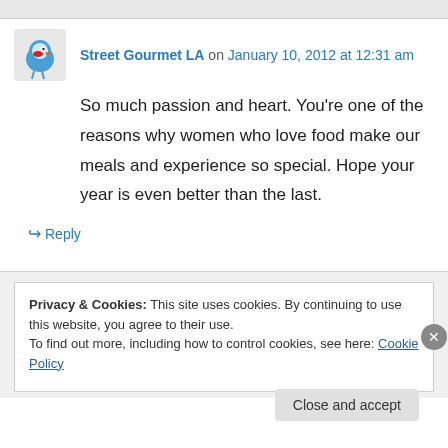Street Gourmet LA on January 10, 2012 at 12:31 am
So much passion and heart. You're one of the reasons why women who love food make our meals and experience so special. Hope your year is even better than the last.
↪ Reply
Privacy & Cookies: This site uses cookies. By continuing to use this website, you agree to their use.
To find out more, including how to control cookies, see here: Cookie Policy
Close and accept